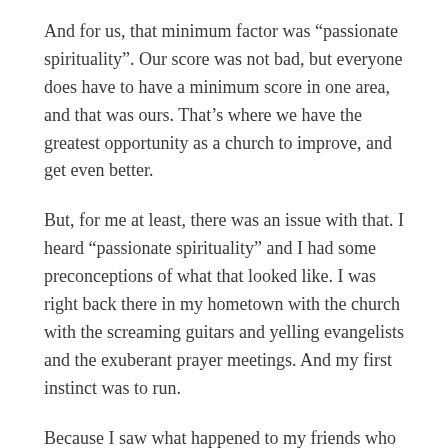And for us, that minimum factor was “passionate spirituality”. Our score was not bad, but everyone does have to have a minimum score in one area, and that was ours. That’s where we have the greatest opportunity as a church to improve, and get even better.
But, for me at least, there was an issue with that. I heard “passionate spirituality” and I had some preconceptions of what that looked like. I was right back there in my hometown with the church with the screaming guitars and yelling evangelists and the exuberant prayer meetings. And my first instinct was to run.
Because I saw what happened to my friends who went to that church. I saw how their faith was exciting and new for a few years, and then they sort of left it behind.